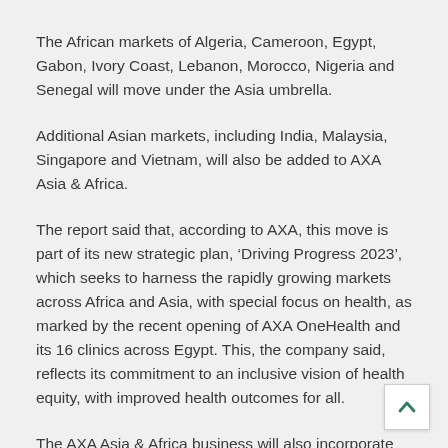The African markets of Algeria, Cameroon, Egypt, Gabon, Ivory Coast, Lebanon, Morocco, Nigeria and Senegal will move under the Asia umbrella.
Additional Asian markets, including India, Malaysia, Singapore and Vietnam, will also be added to AXA Asia & Africa.
The report said that, according to AXA, this move is part of its new strategic plan, ‘Driving Progress 2023’, which seeks to harness the rapidly growing markets across Africa and Asia, with special focus on health, as marked by the recent opening of AXA OneHealth and its 16 clinics across Egypt. This, the company said, reflects its commitment to an inclusive vision of health equity, with improved health outcomes for all.
The AXA Asia & Africa business will also incorporate AXA Emerging Customers, the insurer’s unit focused on closing the protection gap in the low-income to mass market segments.